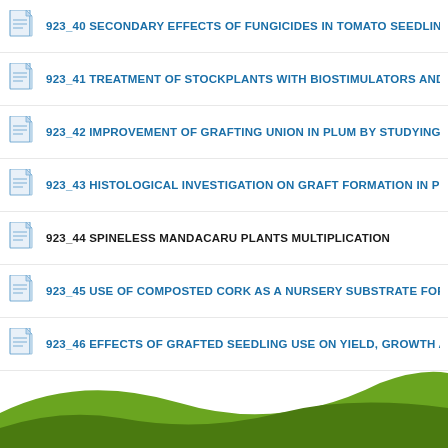923_40 SECONDARY EFFECTS OF FUNGICIDES IN TOMATO SEEDLINGS
923_41 TREATMENT OF STOCKPLANTS WITH BIOSTIMULATORS AND TH
923_42 IMPROVEMENT OF GRAFTING UNION IN PLUM BY STUDYING GR
923_43 HISTOLOGICAL INVESTIGATION ON GRAFT FORMATION IN PEAR
923_44 SPINELESS MANDACARU PLANTS MULTIPLICATION
923_45 USE OF COMPOSTED CORK AS A NURSERY SUBSTRATE FOR L
923_46 EFFECTS OF GRAFTED SEEDLING USE ON YIELD, GROWTH AND